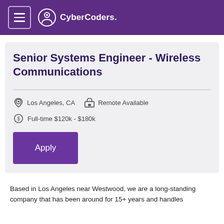CyberCoders.
Senior Systems Engineer - Wireless Communications
Los Angeles, CA   Remote Available
Full-time $120k - $180k
Apply
Based in Los Angeles near Westwood, we are a long-standing company that has been around for 15+ years and handles